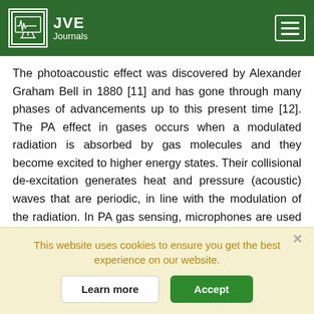JVE Journals
The photoacoustic effect was discovered by Alexander Graham Bell in 1880 [11] and has gone through many phases of advancements up to this present time [12]. The PA effect in gases occurs when a modulated radiation is absorbed by gas molecules and they become excited to higher energy states. Their collisional de-excitation generates heat and pressure (acoustic) waves that are periodic, in line with the modulation of the radiation. In PA gas sensing, microphones are used to detect the acoustic signal which is proportional to the gas concentration. The PA effect occurs in gases because most of them have characteristic fingerprints of radiation absorption. For CO2,
This website uses cookies to ensure you get the best experience on our website.